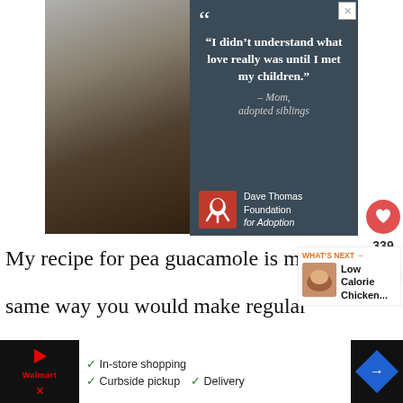[Figure (photo): Advertisement banner showing a happy family (man, woman, and children) on the left, and on the right a dark blue-gray panel with a quote: "I didn't understand what love really was until I met my children." — Mom, adopted siblings. Dave Thomas Foundation for Adoption logo at bottom.]
339
My recipe for pea guacamole is ma same way you would make regular
[Figure (photo): Small thumbnail image of a chicken dish next to WHAT'S NEXT label and text 'Low Calorie Chicken...']
WHAT'S NEXT → Low Calorie Chicken...
[Figure (screenshot): Bottom advertisement strip showing Walmart logo, checkmarks for In-store shopping, Curbside pickup, Delivery, and a blue navigation arrow diamond icon. Dark panels on left and right.]